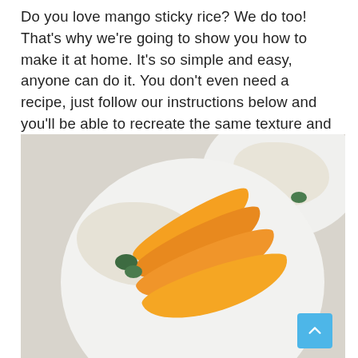Do you love mango sticky rice? We do too! That's why we're going to show you how to make it at home. It's so simple and easy, anyone can do it. You don't even need a recipe, just follow our instructions below and you'll be able to recreate the same texture and flavor of this popular Thai dessert in no time.
[Figure (photo): Overhead photo of two white plates with mango sticky rice. The foreground plate shows sliced yellow mango pieces and a mound of white sticky rice garnished with mint leaves. A second plate is partially visible in the upper right corner, also with sticky rice and mint. The background is a light wooden table surface. A cyan/blue scroll-to-top arrow button appears in the bottom right corner.]